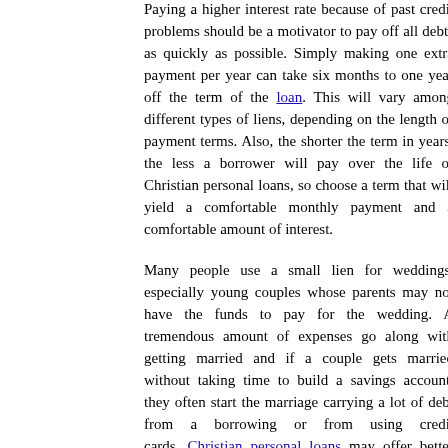Paying a higher interest rate because of past credit problems should be a motivator to pay off all debts as quickly as possible. Simply making one extra payment per year can take six months to one year off the term of the loan. This will vary among different types of liens, depending on the length of payment terms. Also, the shorter the term in years, the less a borrower will pay over the life of Christian personal loans, so choose a term that will yield a comfortable monthly payment and a comfortable amount of interest.
Many people use a small lien for weddings, especially young couples whose parents may not have the funds to pay for the wedding. A tremendous amount of expenses go along with getting married and if a couple gets married without taking time to build a savings account, they often start the marriage carrying a lot of debt from a borrowing or from using credit cards. Christian personal loans may offer better terms and conditions to those just getting started in their new married life. Though having no debt at all is best, finding a reputable lender to work with, if borrowing is necessary, will most likely guarantee better rates and terms than a standard personal loan.
Whatever the reasons for obtaining a loan, be sure to use the funds wisely. Consider whether the personal loan is for something really needed or for something simply wanted. Borrowing money for anything that is not truly needed would be an unwise financial decision. "He that oppresseth the poor to increase his riches, and he that giveth to the rich, shall surely come to want." (Proverbs 22:16) The Bible clearly tells us that God wants us to be financially independent and debt free. He wants us to manage the assets that He has given us in a way that we will have all that we need without paying a great deal of money for it. Perhaps saving up for something that is wanted instead of borrowing money would be the better choice.
Christian personal loans are available from many companies who...